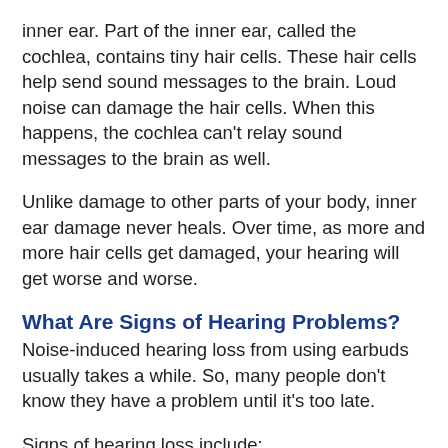inner ear. Part of the inner ear, called the cochlea, contains tiny hair cells. These hair cells help send sound messages to the brain. Loud noise can damage the hair cells. When this happens, the cochlea can't relay sound messages to the brain as well.
Unlike damage to other parts of your body, inner ear damage never heals. Over time, as more and more hair cells get damaged, your hearing will get worse and worse.
What Are Signs of Hearing Problems?
Noise-induced hearing loss from using earbuds usually takes a while. So, many people don't know they have a problem until it's too late.
Signs of hearing loss include: